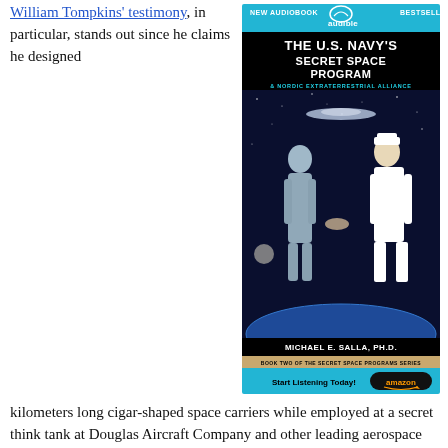William Tompkins' testimony, in particular, stands out since he claims he designed
[Figure (illustration): Audible audiobook advertisement for 'The U.S. Navy's Secret Space Program & Nordic Extraterrestrial Alliance' by Michael E. Salla, Ph.D. Book Two of the Secret Space Programs Series. Shows a silver-clad female alien figure shaking hands with a US Navy officer against a space background with Earth. Includes 'New Audiobook', 'Bestseller', audible logo, and 'Start Listening Today! amazon' call to action.]
kilometers long cigar-shaped space carriers while employed at a secret think tank at Douglas Aircraft Company and other leading aerospace corporations